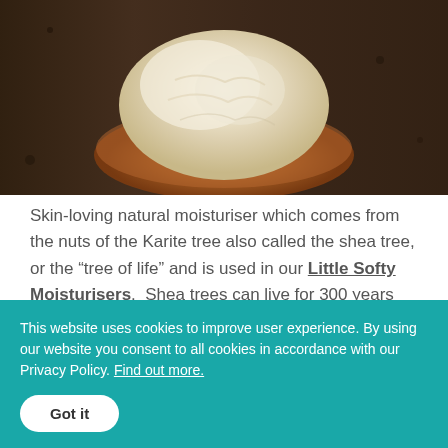[Figure (photo): Photo of shea butter scooped in a wooden bowl, creamy white/ivory colored, on a dark wooden surface background]
Skin-loving natural moisturiser which comes from the nuts of the Karite tree also called the shea tree, or the “tree of life” and is used in our Little Softy Moisturisers. Shea trees can live for 300 years and produce nuts only once annually when they are
This website uses cookies to improve user experience. By using our website you consent to all cookies in accordance with our Privacy Policy. Find out more.
Got it